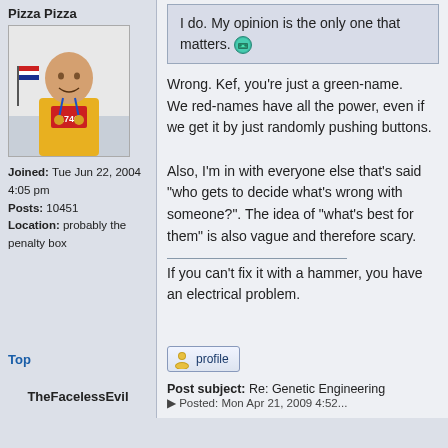Pizza Pizza
[Figure (photo): Profile photo of a man in a yellow shirt with race bib number 1746, wearing medals, holding American flags at what appears to be a race finish.]
Joined: Tue Jun 22, 2004 4:05 pm
Posts: 10451
Location: probably the penalty box
I do. My opinion is the only one that matters. [emoji]
Wrong. Kef, you're just a green-name.
We red-names have all the power, even if we get it by just randomly pushing buttons.

Also, I'm in with everyone else that's said "who gets to decide what's wrong with someone?". The idea of "what's best for them" is also vague and therefore scary.
If you can't fix it with a hammer, you have an electrical problem.
Top
profile
TheFacelessEvil
Post subject: Re: Genetic Engineering